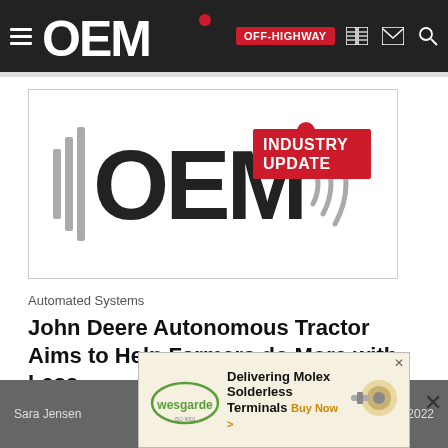OEM OFF-HIGHWAY
[Figure (logo): OEM Industry Update logo — large OEM text with soundwave graphic and INDUSTRY UPDATE badge in red]
Automated Systems
John Deere Autonomous Tractor Aims to Help Farmers do More with Less
Fully autonomous operation of the John Deere 8R tractor allows farmers to focus their attention on other work without sacrificing productivity.
Sara Jensen | January 18, 2022